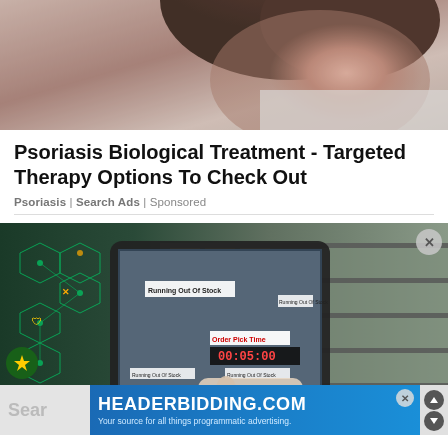[Figure (photo): Close-up photo of a person (possibly a medical/lab context), partial face and hair visible, wearing white, warm-toned background]
Psoriasis Biological Treatment - Targeted Therapy Options To Check Out
Psoriasis | Search Ads | Sponsored
[Figure (photo): Person holding a tablet showing augmented reality warehouse management system with 'Running Out Of Stock' and 'Order Pick Time' overlays; background shows a warehouse with shelving and glowing digital network/hexagon overlay on the left]
[Figure (screenshot): HEADERBIDDING.COM advertisement banner with text 'Your source for all things programmatic advertising.' on blue gradient background]